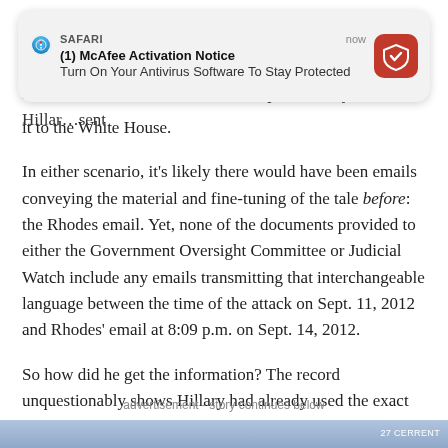[Figure (screenshot): Safari push notification overlay showing McAfee Activation Notice: 'Turn On Your Antivirus Software To Stay Protected' with McAfee red shield icon and timestamp 'now']
it to the White House.
In either scenario, it's likely there would have been emails conveying the material and fine-tuning of the tale before: the Rhodes email. Yet, none of the documents provided to either the Government Oversight Committee or Judicial Watch include any emails transmitting that interchangeable language between the time of the attack on Sept. 11, 2012 and Rhodes' email at 8:09 p.m. on Sept. 14, 2012.
So how did he get the information? The record unquestionably shows Hillary had already used the exact same text as Rhodes used 36 hours later. So how did Rhodes pick up Hillary's words? By reading the newspaper?
Or was the wording passed along in a document that somehow didn't make it into the troves provided to Congress?
advertisement - story continues below